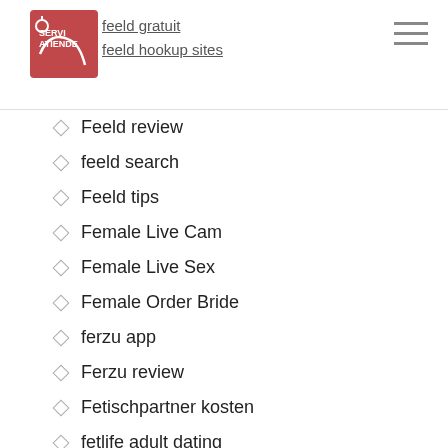feeld gratuit | feeld hookup sites
Feeld review
feeld search
Feeld tips
Female Live Cam
Female Live Sex
Female Order Bride
ferzu app
Ferzu review
Fetischpartner kosten
fetlife adult dating
fetlife app
fetlife come funziona
fetlife dating
fetlife dating site
fetlife dating site 2020